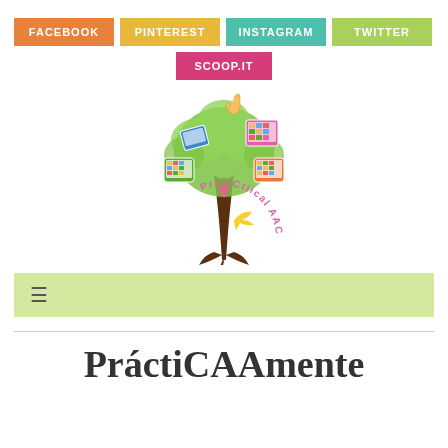FACEBOOK | PINTEREST | INSTAGRAM | TWITTER | SCOOP.IT
[Figure (logo): PrAACtiical AAC logo — a stylized brown tree with colorful tablets, books, and AAC devices in the branches, and a bird at the base, with pink curved text reading 'PrAACtiical AAC']
≡
PráctiCAAmente